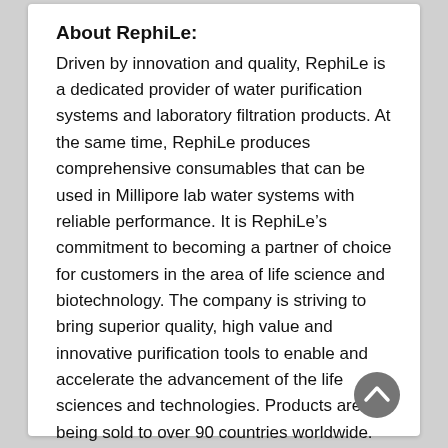About RephiLe:
Driven by innovation and quality, RephiLe is a dedicated provider of water purification systems and laboratory filtration products. At the same time, RephiLe produces comprehensive consumables that can be used in Millipore lab water systems with reliable performance. It is RephiLe’s commitment to becoming a partner of choice for customers in the area of life science and biotechnology. The company is striving to bring superior quality, high value and innovative purification tools to enable and accelerate the advancement of the life sciences and technologies. Products are being sold to over 90 countries worldwide.